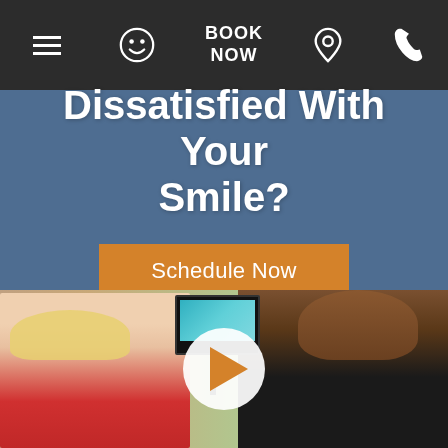Navigation bar with menu, smiley, BOOK NOW, location pin, and phone icons
Dissatisfied With Your Smile?
Schedule Now
[Figure (photo): A female patient in a dental chair smiling while a dentist in dark clothing shows her something on a monitor mounted on a stand. Green trees are visible through a window in the background.]